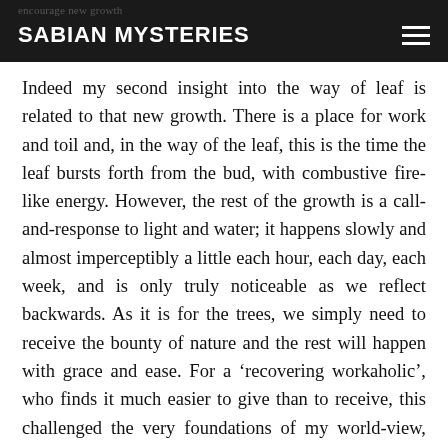SABIAN MYSTERIES
Indeed my second insight into the way of leaf is related to that new growth. There is a place for work and toil and, in the way of the leaf, this is the time the leaf bursts forth from the bud, with combustive fire-like energy. However, the rest of the growth is a call-and-response to light and water; it happens slowly and almost imperceptibly a little each hour, each day, each week, and is only truly noticeable as we reflect backwards. As it is for the trees, we simply need to receive the bounty of nature and the rest will happen with grace and ease. For a 'recovering workaholic', who finds it much easier to give than to receive, this challenged the very foundations of my world-view, yet at the same time demonstrated the alchemical nature of the Earth we inhabit.